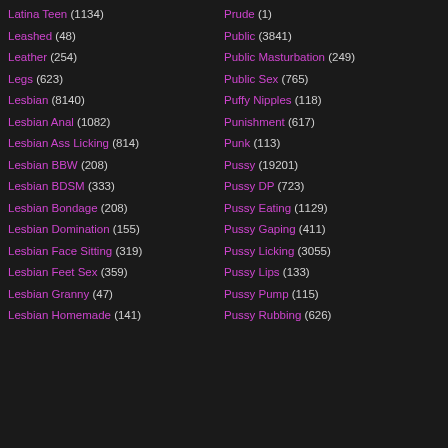Latina Teen (1134)
Leashed (48)
Leather (254)
Legs (623)
Lesbian (8140)
Lesbian Anal (1082)
Lesbian Ass Licking (814)
Lesbian BBW (208)
Lesbian BDSM (333)
Lesbian Bondage (208)
Lesbian Domination (155)
Lesbian Face Sitting (319)
Lesbian Feet Sex (359)
Lesbian Granny (47)
Lesbian Homemade (141)
Prude (1)
Public (3841)
Public Masturbation (249)
Public Sex (765)
Puffy Nipples (118)
Punishment (617)
Punk (113)
Pussy (19201)
Pussy DP (723)
Pussy Eating (1129)
Pussy Gaping (411)
Pussy Licking (3055)
Pussy Lips (133)
Pussy Pump (115)
Pussy Rubbing (626)